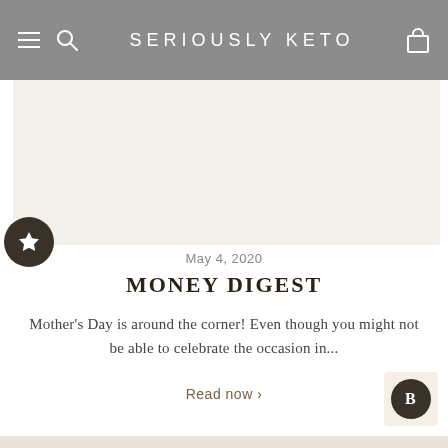SERIOUSLY KETO
[Figure (photo): Featured article image area - light beige/cream colored placeholder]
May 4, 2020
MONEY DIGEST
Mother's Day is around the corner! Even though you might not be able to celebrate the occasion in...
Read now >